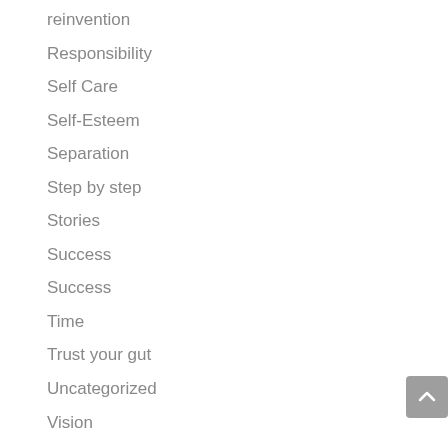reinvention
Responsibility
Self Care
Self-Esteem
Separation
Step by step
Stories
Success
Success
Time
Trust your gut
Uncategorized
Vision